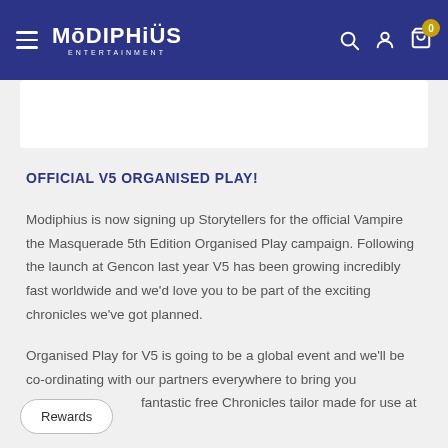Modiphius Entertainment
OFFICIAL V5 ORGANISED PLAY!
Modiphius is now signing up Storytellers for the official Vampire the Masquerade 5th Edition Organised Play campaign. Following the launch at Gencon last year V5 has been growing incredibly fast worldwide and we'd love you to be part of the exciting chronicles we've got planned.
Organised Play for V5 is going to be a global event and we'll be co-ordinating with our partners everywhere to bring you fantastic free Chronicles tailor made for use at